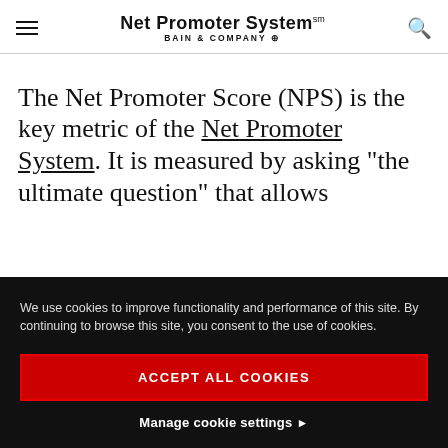Net Promoter System℠ — BAIN & COMPANY
The Net Promoter Score (NPS) is the key metric of the Net Promoter System. It is measured by asking "the ultimate question" that allows
We use cookies to improve functionality and performance of this site. By continuing to browse this site, you consent to the use of cookies.
ACCEPT ALL COOKIES
Manage cookie settings ▶